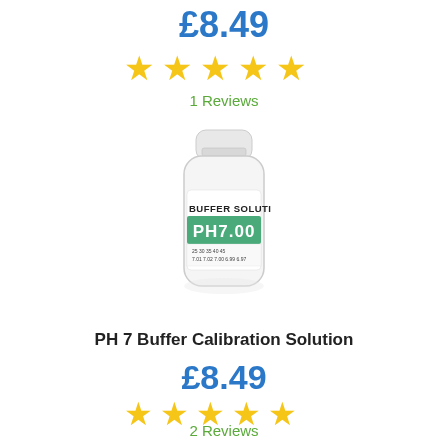£8.49
[Figure (other): Five gold star rating icons]
1 Reviews
[Figure (photo): Small white bottle with white cap and label reading BUFFER SOLUTION PH7.00 with a green band, temperature/pH table at bottom]
PH 7 Buffer Calibration Solution
£8.49
[Figure (other): Five gold star rating icons]
2 Reviews
Complete CO2 Drop Checker Kits